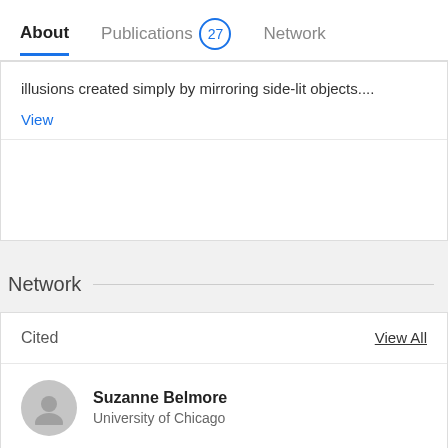About   Publications 27   Network
illusions created simply by mirroring side-lit objects....
View
Network
Cited   View All
Suzanne Belmore
University of Chicago
Yasuki Yamauchi
Yamagata University